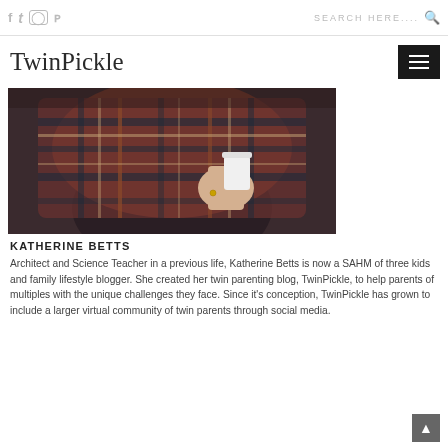f  t  ☐  p    SEARCH HERE....  🔍
TwinPickle
[Figure (photo): Person wearing a dark shirt and plaid/tartan blanket scarf, holding a white cup. Face is obscured by the large scarf.]
KATHERINE BETTS
Architect and Science Teacher in a previous life, Katherine Betts is now a SAHM of three kids and family lifestyle blogger. She created her twin parenting blog, TwinPickle, to help parents of multiples with the unique challenges they face. Since it's conception, TwinPickle has grown to include a larger virtual community of twin parents through social media.